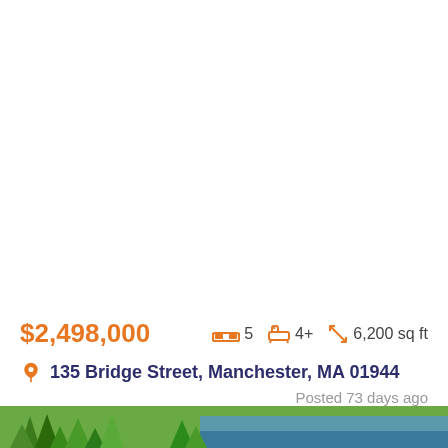[Figure (photo): White blank area representing a property photo (top portion of listing card, image not loaded)]
$2,498,000   🛏 5   🛁 4+   ↔ 6,200 sq ft
📍 135 Bridge Street, Manchester, MA 01944
Posted 73 days ago
[Figure (photo): Bottom strip showing green trees and landscape thumbnail]